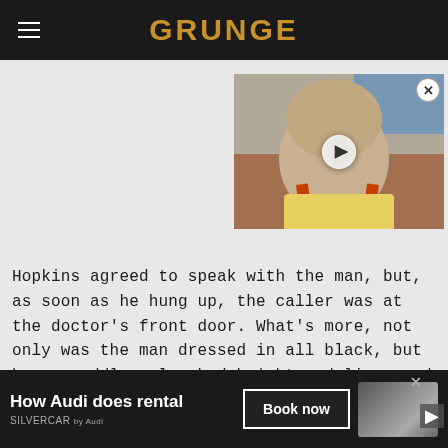GRUNGE
[Figure (screenshot): Video thumbnail showing a heavyset man in a yellow outfit with suspenders, with a play button overlay]
Hopkins agreed to speak with the man, but, as soon as he hung up, the caller was at the doctor's front door. What's more, not only was the man dressed in all black, but he was oddly pale, had bright red lips, and had no
[Figure (photo): Audi Silvercar rental advertisement showing a car image with 'How Audi does rental' headline and 'Book now' button]